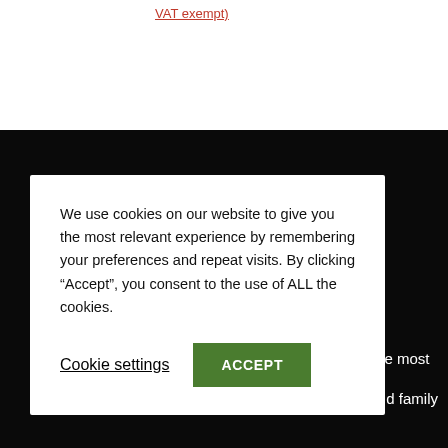VAT exempt)
Our mission
Team Bridgit believe that unpaid Carers are the most
d family
hem.
We use cookies on our website to give you the most relevant experience by remembering your preferences and repeat visits. By clicking “Accept”, you consent to the use of ALL the cookies.
Cookie settings
ACCEPT